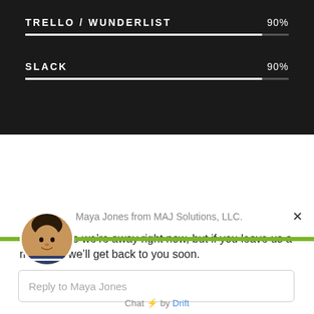[Figure (infographic): Skill bar for TRELLO / WUNDERLIST at 90% on dark background]
[Figure (infographic): Skill bar for SLACK at 90% on dark background]
[Figure (screenshot): Chat widget popup from Drift showing Maya Jones from MAJ Solutions, LLC. with message and reply input field]
Hi there! So we’re away right now, but if you leave us a message we’ll get back to you soon.
Reply to Maya Jones
Chat ⚡ by Drift